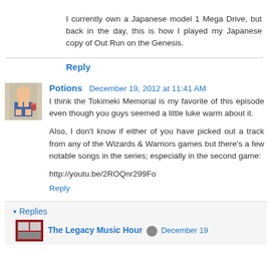I currently own a Japanese model 1 Mega Drive, but back in the day, this is how I played my Japanese copy of Out Run on the Genesis.
Reply
Potions  December 19, 2012 at 11:41 AM
I think the Tokimeki Memorial is my favorite of this episode even though you guys seemed a little luke warm about it.
Also, I don't know if either of you have picked out a track from any of the Wizards & Warriors games but there's a few notable songs in the series; especially in the second game:
http://youtu.be/2ROQnr299Fo
Reply
▾ Replies
The Legacy Music Hour  December 19